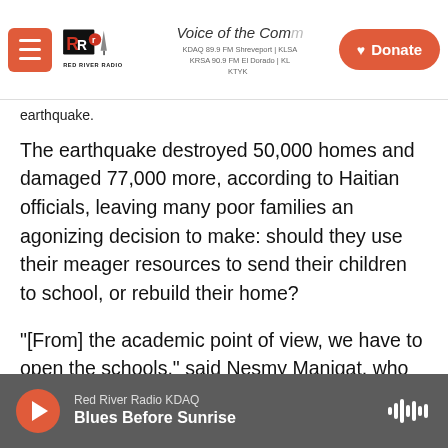Red River Radio — Voice of the Community — Donate
earthquake.
The earthquake destroyed 50,000 homes and damaged 77,000 more, according to Haitian officials, leaving many poor families an agonizing decision to make: should they use their meager resources to send their children to school, or rebuild their home?
"[From] the academic point of view, we have to open the schools," said Nesmy Manigat, who served as the country's minister of education from 2014 to 2016. "But practically — in terms of social
Red River Radio KDAQ — Blues Before Sunrise